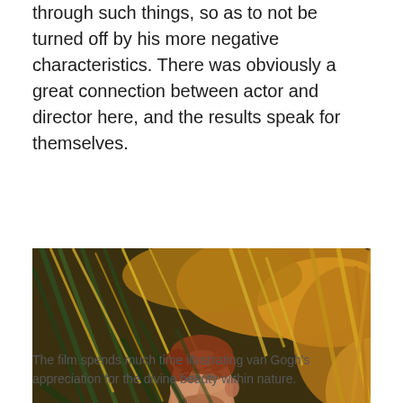through such things, so as to not be turned off by his more negative characteristics. There was obviously a great connection between actor and director here, and the results speak for themselves.
[Figure (photo): A man lying back among tall grass and golden foliage, looking upward with eyes closed, lit with warm natural light.]
The film spends much time illustrating van Gogh's appreciation for the divine beauty within nature.